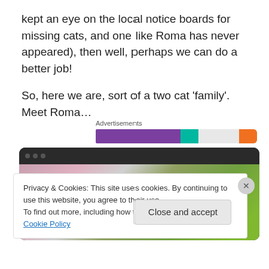kept an eye on the local notice boards for missing cats, and one like Roma has never appeared), then well, perhaps we can do a better job!
So, here we are, sort of a two cat ‘family’. Meet Roma…
[Figure (infographic): Advertisements bar with purple, teal, light gray, and orange segments]
[Figure (photo): Browser window showing a photo of plants and colorful fabric/cat]
Privacy & Cookies: This site uses cookies. By continuing to use this website, you agree to their use.
To find out more, including how to control cookies, see here: Cookie Policy
Close and accept